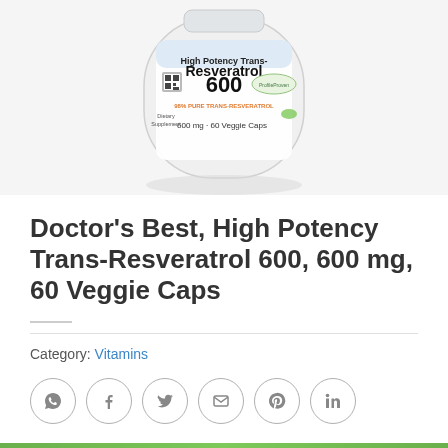[Figure (photo): Photo of a white supplement bottle labeled 'High Potency Trans-Resveratrol 600, 600mg, 60 Veggie Caps' by Doctor's Best, showing ProfileProven badge and 98% Pure Trans-Resveratrol text]
Doctor’s Best, High Potency Trans-Resveratrol 600, 600 mg, 60 Veggie Caps
Category: Vitamins